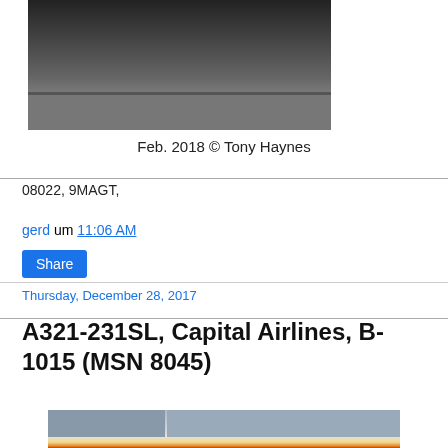[Figure (photo): Airplane on runway, partial top of aircraft visible against dark background]
Feb. 2018 © Tony Haynes
08022, 9MAGT,
gerd um 11:06 AM
Share
Thursday, December 28, 2017
A321-231SL, Capital Airlines, B-1015 (MSN 8045)
[Figure (photo): Capital Airlines A321 aircraft parked at terminal with red and yellow tail livery, airport buildings in background]